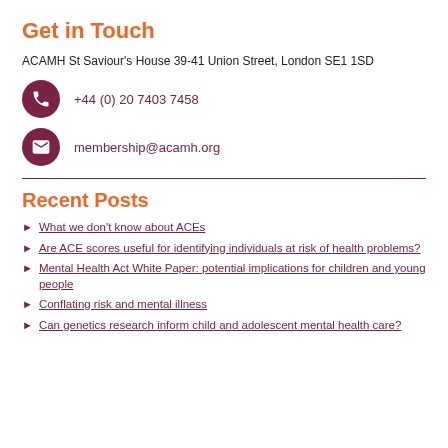Get in Touch
ACAMH St Saviour's House 39-41 Union Street, London SE1 1SD
+44 (0) 20 7403 7458
membership@acamh.org
Recent Posts
What we don't know about ACEs
Are ACE scores useful for identifying individuals at risk of health problems?
Mental Health Act White Paper: potential implications for children and young people
Conflating risk and mental illness
Can genetics research inform child and adolescent mental health care?